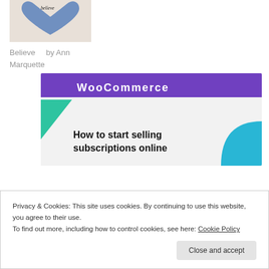[Figure (photo): Blue heart-shaped object with the word 'believe' written on it]
Believe    by Ann Marquette
[Figure (screenshot): WooCommerce banner showing 'How to start selling subscriptions online' with purple header, green triangle shape, and blue arc shape]
Privacy & Cookies: This site uses cookies. By continuing to use this website, you agree to their use.
To find out more, including how to control cookies, see here: Cookie Policy
Close and accept